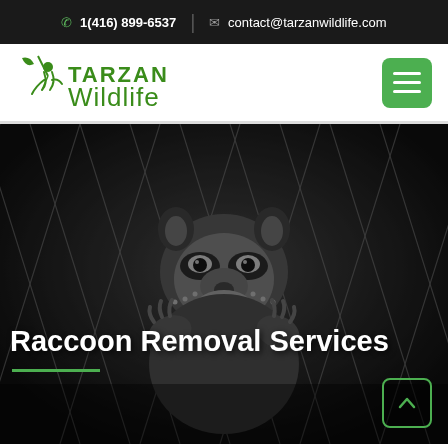1(416) 899-6537 | contact@tarzanwildlife.com
[Figure (logo): Tarzan Wildlife company logo with green text and silhouette figure]
[Figure (photo): Black and white photo of a raccoon behind a chain-link fence, used as hero background image]
Raccoon Removal Services